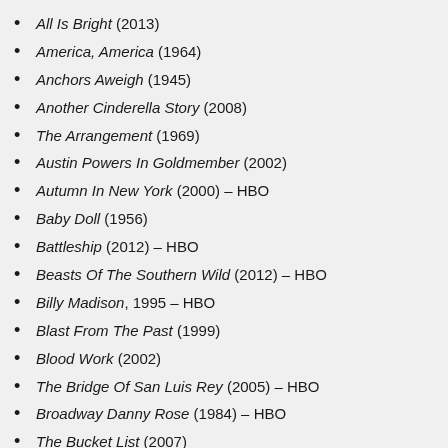All Is Bright (2013)
America, America (1964)
Anchors Aweigh (1945)
Another Cinderella Story (2008)
The Arrangement (1969)
Austin Powers In Goldmember (2002)
Autumn In New York (2000) – HBO
Baby Doll (1956)
Battleship (2012) – HBO
Beasts Of The Southern Wild (2012) – HBO
Billy Madison, 1995 – HBO
Blast From The Past (1999)
Blood Work (2002)
The Bridge Of San Luis Rey (2005) – HBO
Broadway Danny Rose (1984) – HBO
The Bucket List (2007)
The Children (2009)
A Christmas Carol (1938)